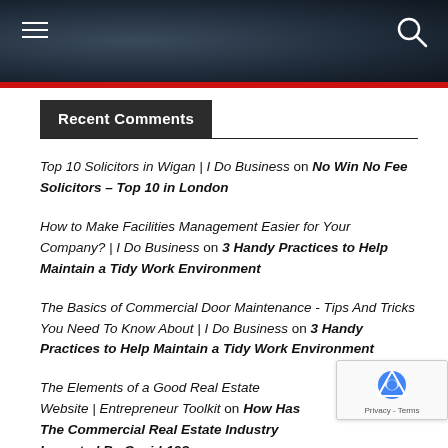Navigation header with hamburger menu and search icon
Recent Comments
Top 10 Solicitors in Wigan | I Do Business on No Win No Fee Solicitors – Top 10 in London
How to Make Facilities Management Easier for Your Company? | I Do Business on 3 Handy Practices to Help Maintain a Tidy Work Environment
The Basics of Commercial Door Maintenance - Tips And Tricks You Need To Know About | I Do Business on 3 Handy Practices to Help Maintain a Tidy Work Environment
The Elements of a Good Real Estate Website | Entrepreneur Toolkit on How Has The Commercial Real Estate Industry Impacted By Covid-19?